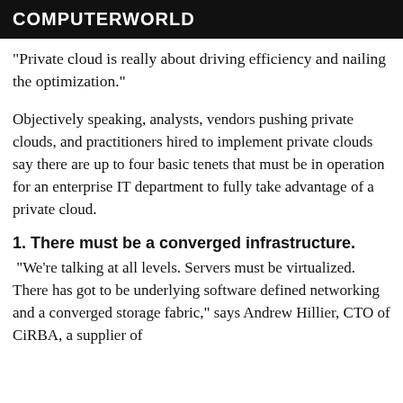COMPUTERWORLD
"Private cloud is really about driving efficiency and nailing the optimization."
Objectively speaking, analysts, vendors pushing private clouds, and practitioners hired to implement private clouds say there are up to four basic tenets that must be in operation for an enterprise IT department to fully take advantage of a private cloud.
1. There must be a converged infrastructure.
"We're talking at all levels. Servers must be virtualized. There has got to be underlying software defined networking and a converged storage fabric," says Andrew Hillier, CTO of CiRBA, a supplier of